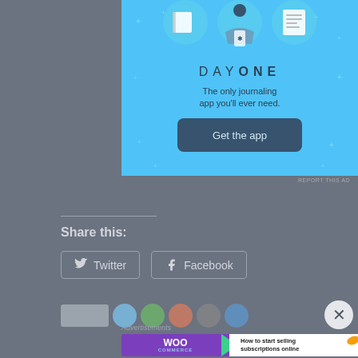[Figure (illustration): Day One journaling app advertisement on a light blue background with illustrated icons and 'Get the app' button]
REPORT THIS AD
Share this:
[Figure (infographic): Twitter and Facebook social share buttons]
Advertisements
[Figure (infographic): WooCommerce advertisement banner: 'How to start selling subscriptions online']